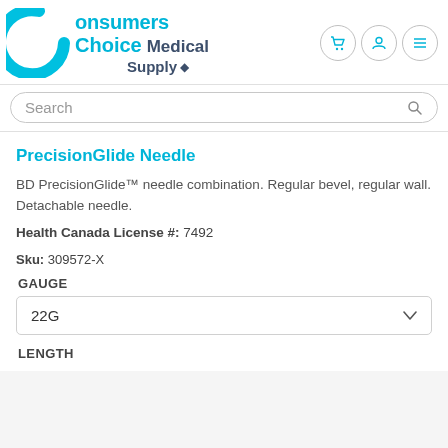[Figure (logo): Consumers Choice Medical Supply logo with cyan C arc and text]
Search
PrecisionGlide Needle
BD PrecisionGlide™ needle combination. Regular bevel, regular wall. Detachable needle.
Health Canada License #: 7492
Sku: 309572-X
GAUGE
22G
LENGTH